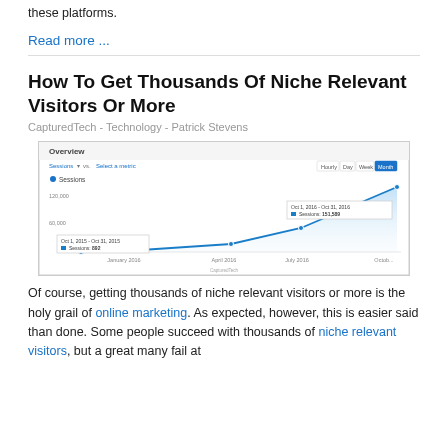these platforms.
Read more ...
How To Get Thousands Of Niche Relevant Visitors Or More
CapturedTech - Technology - Patrick Stevens
[Figure (line-chart): Google Analytics area/line chart showing Sessions growth from Oct 2015 (692 sessions) to Oct 2016 (151,589 sessions). Y-axis shows values 60,000 and 120,000. X-axis shows January 2016, April 2016, July 2016, Octob... Tooltip shows Oct 1, 2016 - Oct 31, 2016, Sessions: 151,589. Another tooltip shows Oct 1, 2015 - Oct 31, 2015, Sessions: 892.]
Of course, getting thousands of niche relevant visitors or more is the holy grail of online marketing. As expected, however, this is easier said than done. Some people succeed with thousands of niche relevant visitors, but a great many fail at